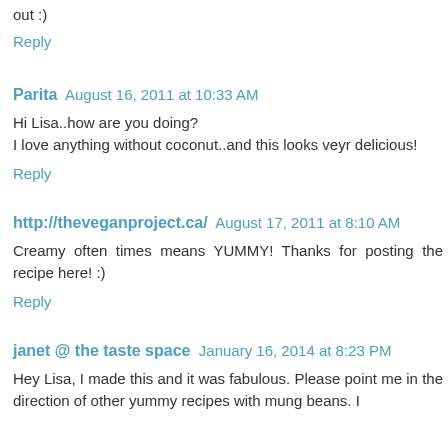out :)
Reply
Parita  August 16, 2011 at 10:33 AM
Hi Lisa..how are you doing?
I love anything without coconut..and this looks veyr delicious!
Reply
http://theveganproject.ca/  August 17, 2011 at 8:10 AM
Creamy often times means YUMMY! Thanks for posting the recipe here! :)
Reply
janet @ the taste space  January 16, 2014 at 8:23 PM
Hey Lisa, I made this and it was fabulous. Please point me in the direction of other yummy recipes with mung beans. I